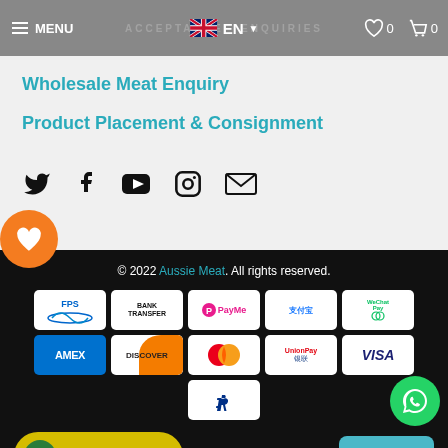MENU EN 0 0
Wholesale Meat Enquiry
Product Placement & Consignment
[Figure (screenshot): Social media icons: Twitter, Facebook, YouTube, Instagram, Email]
[Figure (infographic): Orange circle with heart icon (wishlist button)]
© 2022 Aussie Meat. All rights reserved.
[Figure (infographic): Payment method logos: FPS, Bank Transfer, PayMe, Alipay (支付宝), WeChat Pay, AMEX, Discover, Mastercard, UnionPay, VISA, PayPal]
[Figure (infographic): WhatsApp green circle button]
[Figure (infographic): VIPOINTS CLUB yellow button and REVIEW teal button at bottom]